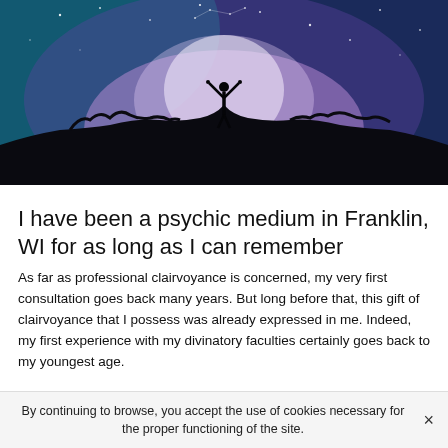[Figure (photo): A silhouette of a person standing on a hilltop with arms raised against a starry blue and purple sky with a bright glowing light behind them.]
I have been a psychic medium in Franklin, WI for as long as I can remember
As far as professional clairvoyance is concerned, my very first consultation goes back many years. But long before that, this gift of clairvoyance that I possess was already expressed in me. Indeed, my first experience with my divinatory faculties certainly goes back to my youngest age.
By continuing to browse, you accept the use of cookies necessary for the proper functioning of the site.